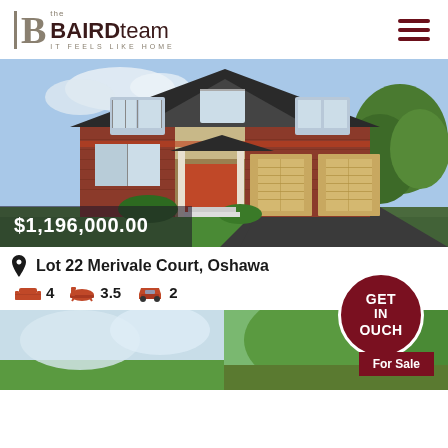[Figure (logo): The Baird Team real estate logo with serif B and tagline IT FEELS LIKE HOME]
[Figure (photo): Two-storey brick house with double garage, red front door, and landscaped yard. Price overlay shows $1,196,000.00]
$1,196,000.00
Lot 22 Merivale Court, Oshawa
4 bedrooms, 3.5 bathrooms, 2 garage spaces
[Figure (photo): Partial sky/house photo bottom left]
[Figure (photo): Partial green tree/yard photo bottom right]
[Figure (infographic): GET IN TOUCH circular badge in dark red with For Sale label below]